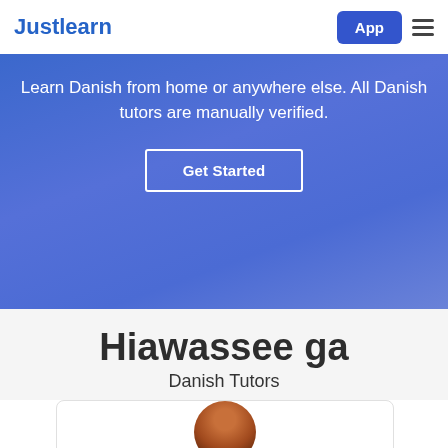Justlearn
Learn Danish from home or anywhere else. All Danish tutors are manually verified.
Get Started
Hiawassee ga
Danish Tutors
[Figure (photo): Partial view of a tutor's profile photo showing the top of a person's head]